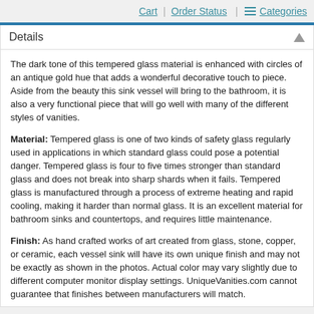Cart | Order Status | Categories
Details
The dark tone of this tempered glass material is enhanced with circles of an antique gold hue that adds a wonderful decorative touch to piece. Aside from the beauty this sink vessel will bring to the bathroom, it is also a very functional piece that will go well with many of the different styles of vanities.
Material: Tempered glass is one of two kinds of safety glass regularly used in applications in which standard glass could pose a potential danger. Tempered glass is four to five times stronger than standard glass and does not break into sharp shards when it fails. Tempered glass is manufactured through a process of extreme heating and rapid cooling, making it harder than normal glass. It is an excellent material for bathroom sinks and countertops, and requires little maintenance.
Finish: As hand crafted works of art created from glass, stone, copper, or ceramic, each vessel sink will have its own unique finish and may not be exactly as shown in the photos. Actual color may vary slightly due to different computer monitor display settings. UniqueVanities.com cannot guarantee that finishes between manufacturers will match.